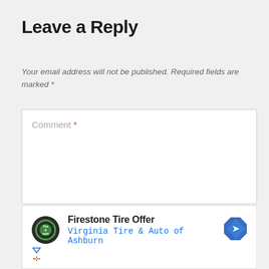Leave a Reply
Your email address will not be published. Required fields are marked *
Comment *
[Figure (other): Advertisement box showing Firestone Tire Offer with Virginia Tire & Auto of Ashburn, logo and navigation arrow icon]